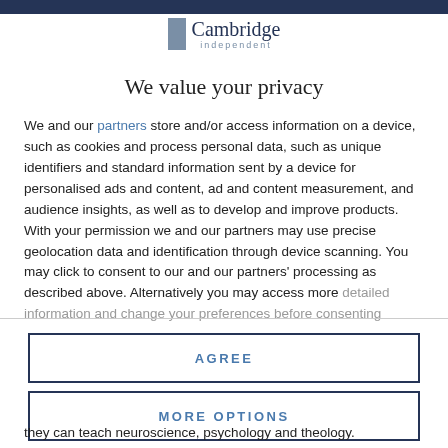[Figure (logo): Cambridge Independent logo with grey rectangle icon and text]
We value your privacy
We and our partners store and/or access information on a device, such as cookies and process personal data, such as unique identifiers and standard information sent by a device for personalised ads and content, ad and content measurement, and audience insights, as well as to develop and improve products. With your permission we and our partners may use precise geolocation data and identification through device scanning. You may click to consent to our and our partners' processing as described above. Alternatively you may access more detailed information and change your preferences before consenting
AGREE
MORE OPTIONS
they can teach neuroscience, psychology and theology.